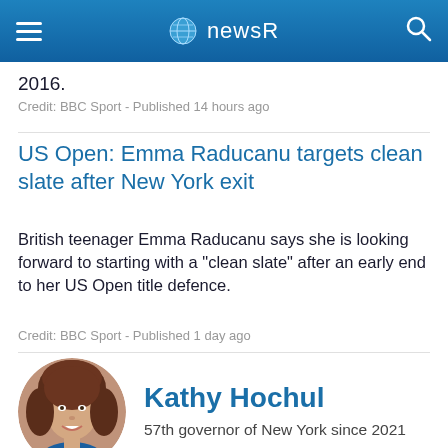newsR
2016.
Credit: BBC Sport - Published 14 hours ago
US Open: Emma Raducanu targets clean slate after New York exit
British teenager Emma Raducanu says she is looking forward to starting with a "clean slate" after an early end to her US Open title defence.
Credit: BBC Sport - Published 1 day ago
[Figure (photo): Circular portrait photo of Kathy Hochul, a woman with brown hair, smiling, wearing a blue outfit]
Kathy Hochul
57th governor of New York since 2021